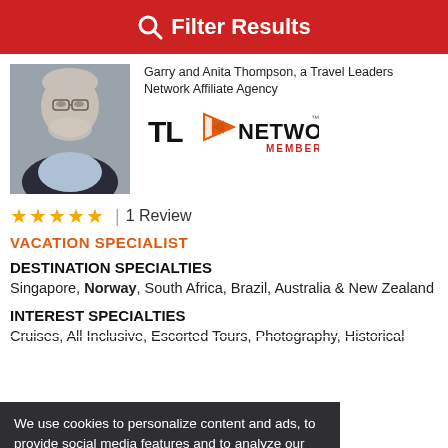Filter Results
[Figure (photo): Headshot of an older man with white beard and glasses wearing a dark jacket]
Garry and Anita Thompson, a Travel Leaders Network Affiliate Agency
[Figure (logo): TL Network Member logo — stylized orange/red arrow with bold black NETWORK text and red MEMBER text]
★★★★★ | 1 Review
VACATION SPECIALIST
DESTINATION SPECIALTIES
Singapore, Norway, South Africa, Brazil, Australia & New Zealand
INTEREST SPECIALTIES
Cruises, All Inclusive, Escorted Tours, Photography, Historical
We use cookies to personalize content and ads, to provide social media features and to analyze our traffic. We also share information about your use of our site with our social media, advertising and analytic partners. More info
Accept and Close ✕
Your browser settings do not allow cross-site tracking for advertising. Click on this page to allow AdRoll to use cross-site tracking to tailor ads to you. Learn more or opt out of this AdRoll tracking by clicking here. This message only appears once.